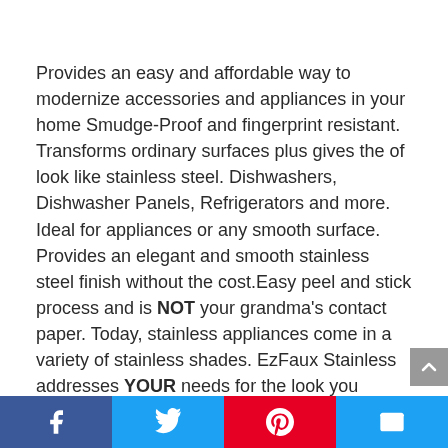Provides an easy and affordable way to modernize accessories and appliances in your home Smudge-Proof and fingerprint resistant. Transforms ordinary surfaces plus gives the of look like stainless steel. Dishwashers, Dishwasher Panels, Refrigerators and more. Ideal for appliances or any smooth surface. Provides an elegant and smooth stainless steel finish without the cost.Easy peel and stick process and is NOT your grandma's contact paper. Today, stainless appliances come in a variety of stainless shades. EzFaux Stainless addresses YOUR needs for the look you desire. We offer Satin Finish, Brushed Nickel and Graphite Brushed Stainless films to allow you to compliment your personal